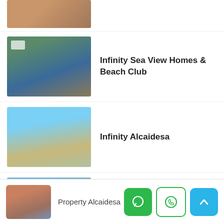[Figure (photo): Partial listing thumbnail at top, cropped property aerial view]
Infinity Sea View Homes & Beach Club
Infinity Alcaidesa
Apartment for Rent in The Links La Alcaidesa
Serenity Alcaidesa
Property Alcaidesa